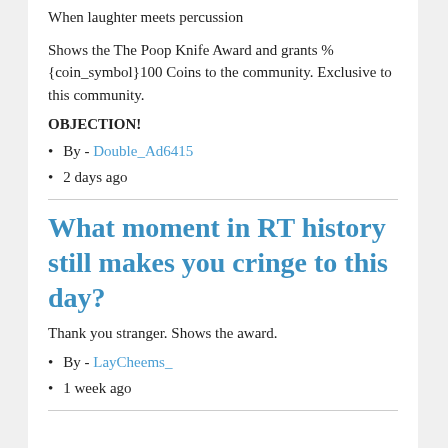When laughter meets percussion
Shows the The Poop Knife Award and grants % {coin_symbol}100 Coins to the community. Exclusive to this community.
OBJECTION!
By - Double_Ad6415
2 days ago
What moment in RT history still makes you cringe to this day?
Thank you stranger. Shows the award.
By - LayCheems_
1 week ago